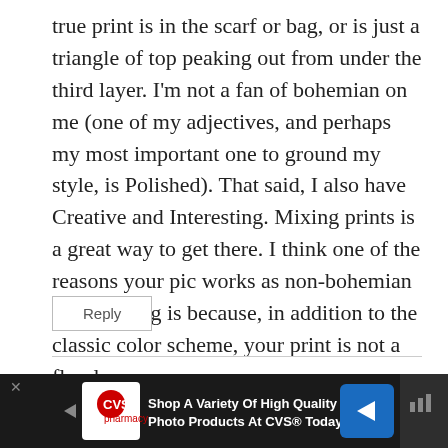true print is in the scarf or bag, or is just a triangle of top peaking out from under the third layer. I'm not a fan of bohemian on me (one of my adjectives, and perhaps my most important one to ground my style, is Polished). That said, I also have Creative and Interesting. Mixing prints is a great way to get there. I think one of the reasons your pic works as non-bohemian print mixing is because, in addition to the classic color scheme, your print is not a floral.
Reply
Pamela Lutrell says:
[Figure (screenshot): CVS Pharmacy advertisement banner at bottom of page: dark background with CVS heart logo, navigation arrows, text 'Shop A Variety Of High Quality Photo Products At CVS® Today', and a mute/settings icon on the right.]